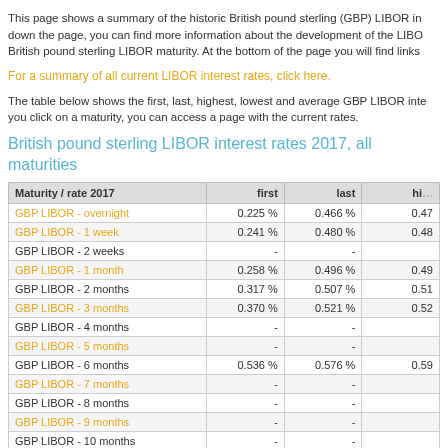This page shows a summary of the historic British pound sterling (GBP) LIBOR interest rates in 2017. If you scroll down the page, you can find more information about the development of the LIBOR interest rates in 2017 per British pound sterling LIBOR maturity. At the bottom of the page you will find links
For a summary of all current LIBOR interest rates, click here.
The table below shows the first, last, highest, lowest and average GBP LIBOR interest rates in 2017. If you click on a maturity, you can access a page with the current rates.
British pound sterling LIBOR interest rates 2017, all maturities
| Maturity / rate 2017 | first | last | hi... |
| --- | --- | --- | --- |
| GBP LIBOR - overnight | 0.225 % | 0.466 % | 0.47... |
| GBP LIBOR - 1 week | 0.241 % | 0.480 % | 0.48... |
| GBP LIBOR - 2 weeks | - | - |  |
| GBP LIBOR - 1 month | 0.258 % | 0.496 % | 0.49... |
| GBP LIBOR - 2 months | 0.317 % | 0.507 % | 0.51... |
| GBP LIBOR - 3 months | 0.370 % | 0.521 % | 0.52... |
| GBP LIBOR - 4 months | - | - |  |
| GBP LIBOR - 5 months | - | - |  |
| GBP LIBOR - 6 months | 0.536 % | 0.576 % | 0.59... |
| GBP LIBOR - 7 months | - | - |  |
| GBP LIBOR - 8 months | - | - |  |
| GBP LIBOR - 9 months | - | - |  |
| GBP LIBOR - 10 months | - | - |  |
| GBP LIBOR - 11 months | - | - |  |
| GBP LIBOR - 12 months | 0.780 % | 0.767 % | 0.79... |
Additional information per maturity